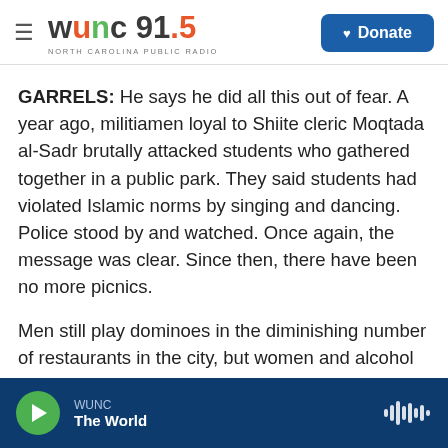[Figure (logo): WUNC 91.5 North Carolina Public Radio logo with hamburger menu and Donate button]
GARRELS: He says he did all this out of fear. A year ago, militiamen loyal to Shiite cleric Moqtada al-Sadr brutally attacked students who gathered together in a public park. They said students had violated Islamic norms by singing and dancing. Police stood by and watched. Once again, the message was clear. Since then, there have been no more picnics.
Men still play dominoes in the diminishing number of restaurants in the city, but women and alcohol are no longer visible. Women appear on the streets
WUNC The World